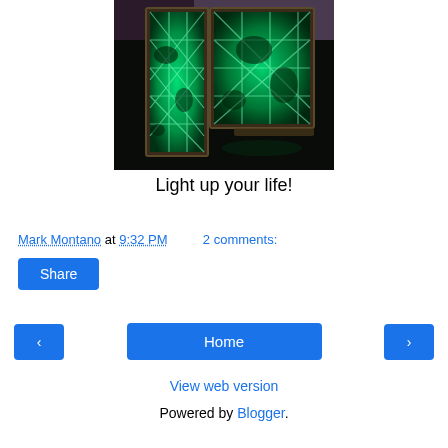[Figure (photo): Illuminated frames/panels displaying green glowing diamond-pattern designs, photographed in low light with dark background. Two frames visible, one taller narrow frame on left and a larger square frame on right, both showing green luminous tile-like patterns.]
Light up your life!
Mark Montano at 9:32 PM   2 comments:
Share
< Home >
View web version
Powered by Blogger.